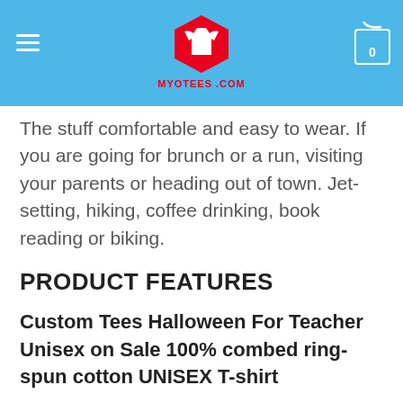MYOTEES.COM
The stuff comfortable and easy to wear. If you are going for brunch or a run, visiting your parents or heading out of town. Jet-setting, hiking, coffee drinking, book reading or biking.
PRODUCT FEATURES
Custom Tees Halloween For Teacher Unisex on Sale 100% combed ring-spun cotton UNISEX T-shirt
fabric laundered for reduced shrinkage
tear-away label
SIZING AND CARE INSTRUCTIONS
LADIES USA SIZING CHART